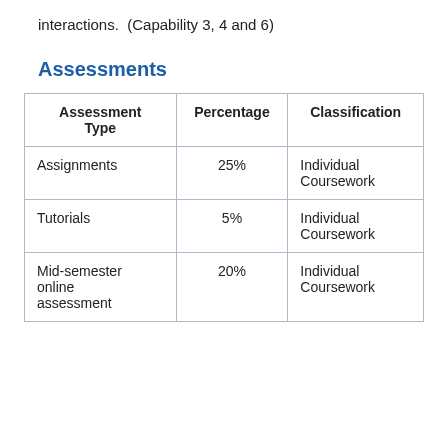interactions.  (Capability 3, 4 and 6)
Assessments
| Assessment Type | Percentage | Classification |
| --- | --- | --- |
| Assignments | 25% | Individual Coursework |
| Tutorials | 5% | Individual Coursework |
| Mid-semester online assessment | 20% | Individual Coursework |